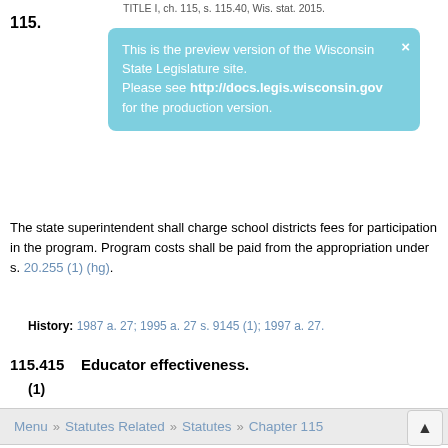TITLE I, ch. 115, s. 115.40, Wis. stat. 2015.
[Figure (other): Preview banner overlay: 'This is the preview version of the Wisconsin State Legislature site. Please see http://docs.legis.wisconsin.gov for the production version.']
The state superintendent shall charge school districts fees for participation in the program. Program costs shall be paid from the appropriation under s. 20.255 (1) (hg).
History: 1987 a. 27; 1995 a. 27 s. 9145 (1); 1997 a. 27.
115.415   Educator effectiveness.
(1)
Menu » Statutes Related » Statutes » Chapter 115